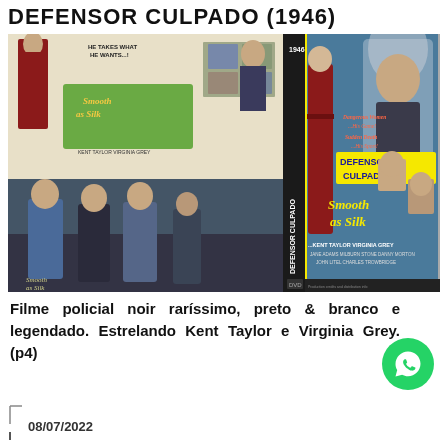DEFENSOR CULPADO (1946)
[Figure (photo): DVD cover images for 'Smooth as Silk' (1946) / 'Defensor Culpado' — showing vintage film noir movie posters with Kent Taylor and Virginia Grey, plus a scene still from the film]
Filme policial noir raríssimo, preto & branco e legendado. Estrelando Kent Taylor e Virginia Grey. (p4)
08/07/2022